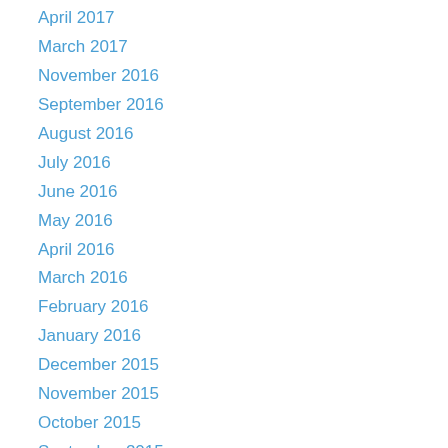April 2017
March 2017
November 2016
September 2016
August 2016
July 2016
June 2016
May 2016
April 2016
March 2016
February 2016
January 2016
December 2015
November 2015
October 2015
September 2015
August 2015
July 2015
June 2015
May 2015